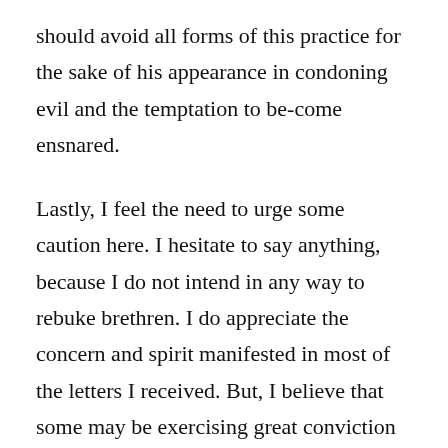should avoid all forms of this practice for the sake of his appearance in condoning evil and the temptation to be-come ensnared.
Lastly, I feel the need to urge some caution here. I hesitate to say anything, because I do not intend in any way to rebuke brethren. I do appreciate the concern and spirit manifested in most of the letters I received. But, I believe that some may be exercising great conviction without really knowing why. More than one